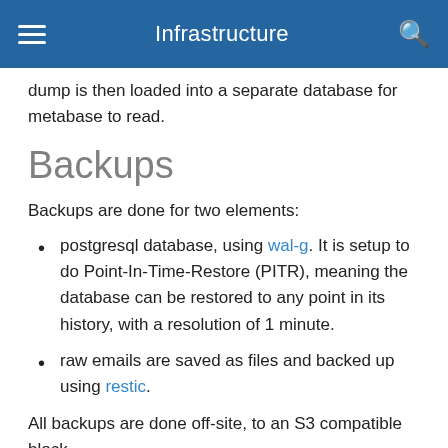Infrastructure
dump is then loaded into a separate database for metabase to read.
Backups
Backups are done for two elements:
postgresql database, using wal-g. It is setup to do Point-In-Time-Restore (PITR), meaning the database can be restored to any point in its history, with a resolution of 1 minute.
raw emails are saved as files and backed up using restic.
All backups are done off-site, to an S3 compatible block